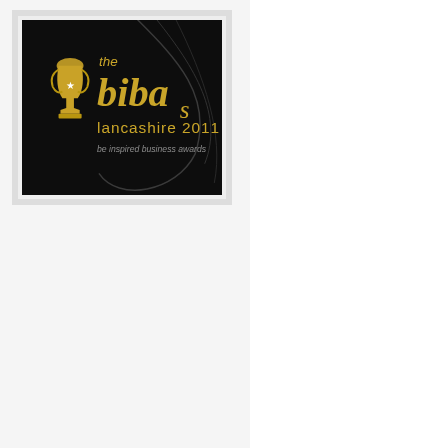[Figure (logo): The BIBAs Lancashire 2011 - Be Inspired Business Awards logo, gold trophy on dark background]
Call for Pricing
Castrol Formula RS 10W-60
[Figure (logo): Gannon Oils Ltd logo - orange text on dark background with green oil drop]
Call for Pricing
Castrol Classic XL 20W-50
[Figure (logo): Gannon Oils Ltd logo - orange text on dark background with green oil drop]